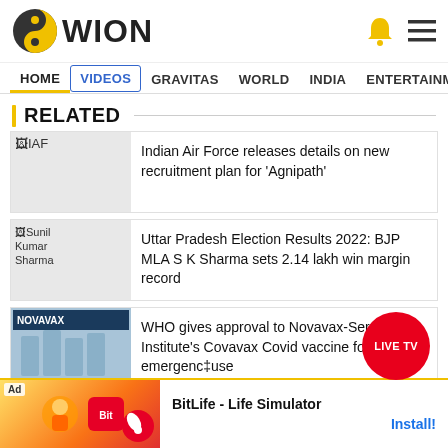[Figure (logo): WION news logo — circular yin-yang style icon in dark grey and yellow with text WION]
HOME  VIDEOS  GRAVITAS  WORLD  INDIA  ENTERTAINMENT  SPORTS
RELATED
Indian Air Force releases details on new recruitment plan for 'Agnipath'
Uttar Pradesh Election Results 2022: BJP MLA SK Sharma sets 2.14 lakh win margin record
WHO gives approval to Novavax-Serum Institute's Covavax Covid vaccine for emergency use
[Figure (screenshot): BitLife - Life Simulator advertisement banner at bottom of page with Install button]